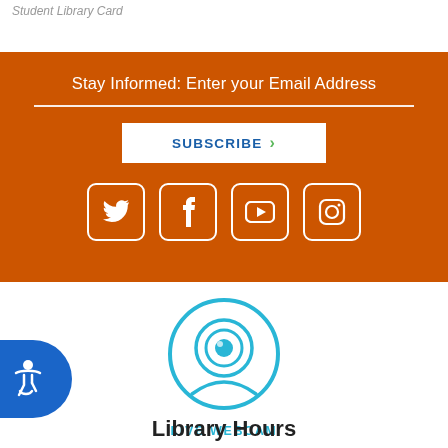Student Library Card
Stay Informed: Enter your Email Address
SUBSCRIBE
[Figure (infographic): Social media icons for Twitter, Facebook, YouTube, and Instagram displayed as white outlined rounded square icons on orange background]
[Figure (illustration): Live webcam icon: a webcam with circular border in cyan/light blue color]
LIVE WEBCAM
Library Hours